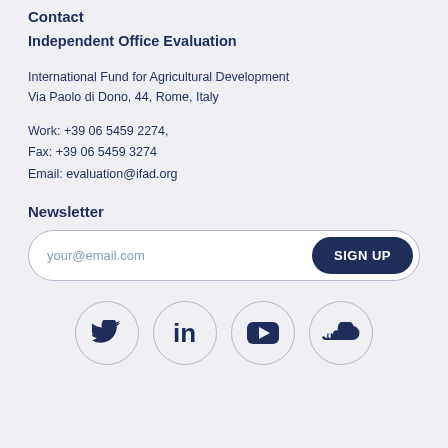Contact
Independent Office Evaluation
International Fund for Agricultural Development
Via Paolo di Dono, 44, Rome, Italy
Work: +39 06 5459 2274,
Fax: +39 06 5459 3274
Email: evaluation@ifad.org
Newsletter
your@email.com  SIGN UP
[Figure (other): Social media icons: Twitter, LinkedIn, YouTube, SoundCloud]